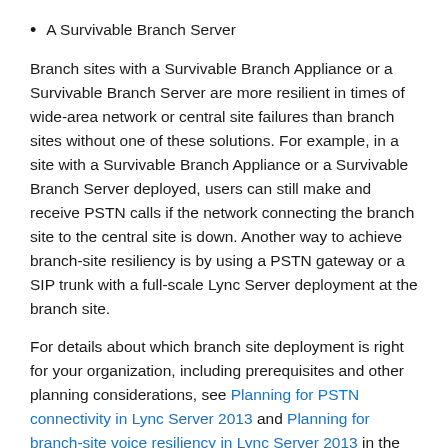A Survivable Branch Server
Branch sites with a Survivable Branch Appliance or a Survivable Branch Server are more resilient in times of wide-area network or central site failures than branch sites without one of these solutions. For example, in a site with a Survivable Branch Appliance or a Survivable Branch Server deployed, users can still make and receive PSTN calls if the network connecting the branch site to the central site is down. Another way to achieve branch-site resiliency is by using a PSTN gateway or a SIP trunk with a full-scale Lync Server deployment at the branch site.
For details about which branch site deployment is right for your organization, including prerequisites and other planning considerations, see Planning for PSTN connectivity in Lync Server 2013 and Planning for branch-site voice resiliency in Lync Server 2013 in the Planning